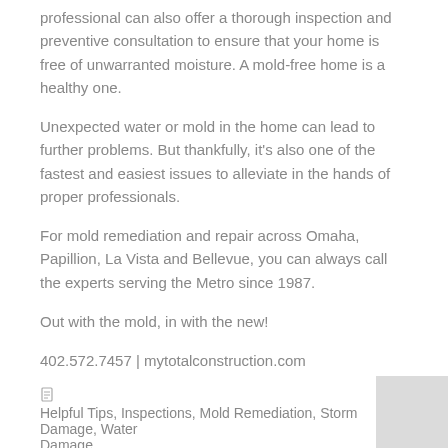professional can also offer a thorough inspection and preventive consultation to ensure that your home is free of unwarranted moisture. A mold-free home is a healthy one.
Unexpected water or mold in the home can lead to further problems. But thankfully, it's also one of the fastest and easiest issues to alleviate in the hands of proper professionals.
For mold remediation and repair across Omaha, Papillion, La Vista and Bellevue, you can always call the experts serving the Metro since 1987.
Out with the mold, in with the new!
402.572.7457 | mytotalconstruction.com
Helpful Tips, Inspections, Mold Remediation, Storm Damage, Water Damage